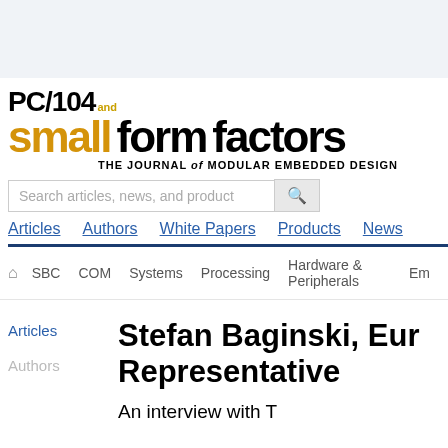[Figure (logo): PC/104 and small form factors - The Journal of Modular Embedded Design logo]
Search articles, news, and product
Articles  Authors  White Papers  Products  News
Home  SBC  COM  Systems  Processing  Hardware & Peripherals  Em...
Articles
Authors
Stefan Baginski, Eur Representative
An interview with T...